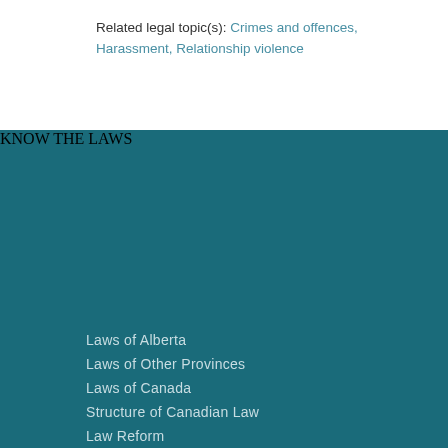Related legal topic(s): Crimes and offences, Harassment, Relationship violence
KNOW THE LAWS
Laws of Alberta
Laws of Other Provinces
Laws of Canada
Structure of Canadian Law
Law Reform
Legal Research
Educational Opportunities
FUNDED BY
[Figure (logo): Funded by logo bar]